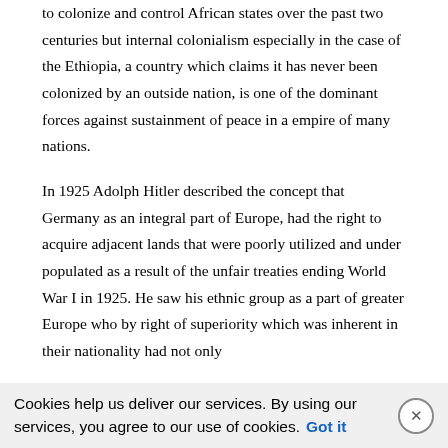to colonize and control African states over the past two centuries but internal colonialism especially in the case of the Ethiopia, a country which claims it has never been colonized by an outside nation, is one of the dominant forces against sustainment of peace in a empire of many nations.
In 1925 Adolph Hitler described the concept that Germany as an integral part of Europe, had the right to acquire adjacent lands that were poorly utilized and under populated as a result of the unfair treaties ending World War I in 1925. He saw his ethnic group as a part of greater Europe who by right of superiority which was inherent in their nationality had not only
Cookies help us deliver our services. By using our services, you agree to our use of cookies. Got it